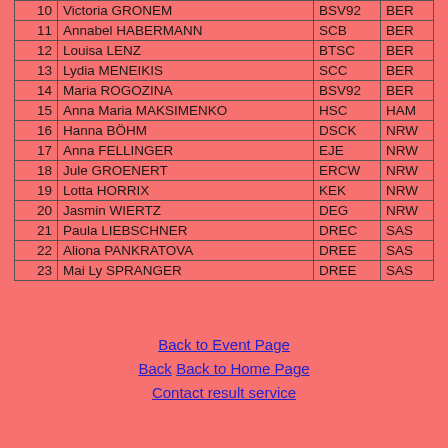| # | Name | Club | Region |
| --- | --- | --- | --- |
| 10 | Victoria GRONEM | BSV92 | BER |
| 11 | Annabel HABERMANN | SCB | BER |
| 12 | Louisa LENZ | BTSC | BER |
| 13 | Lydia MENEIKIS | SCC | BER |
| 14 | Maria ROGOZINA | BSV92 | BER |
| 15 | Anna Maria MAKSIMENKO | HSC | HAM |
| 16 | Hanna BÖHM | DSCK | NRW |
| 17 | Anna FELLINGER | EJE | NRW |
| 18 | Jule GROENERT | ERCW | NRW |
| 19 | Lotta HORRIX | KEK | NRW |
| 20 | Jasmin WIERTZ | DEG | NRW |
| 21 | Paula LIEBSCHNER | DREC | SAS |
| 22 | Aliona PANKRATOVA | DREE | SAS |
| 23 | Mai Ly SPRANGER | DREE | SAS |
Back to Event Page
Back  Back to Home Page
Contact result service